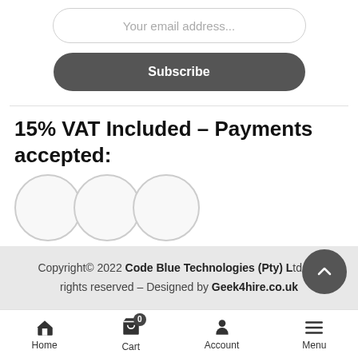Your email address...
Subscribe
15% VAT Included – Payments accepted:
[Figure (illustration): Three overlapping circles representing payment method icons]
Copyright© 2022 Code Blue Technologies (Pty) Ltd. All rights reserved – Designed by Geek4hire.co.uk
Home | Cart (0) | Account | Menu